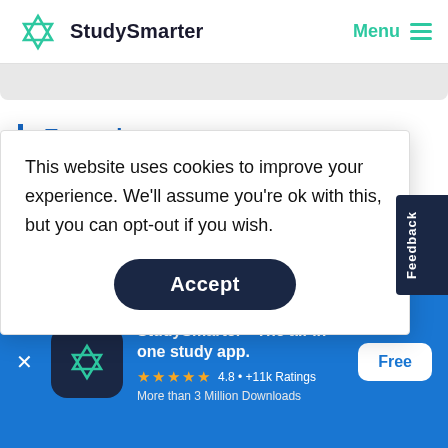StudySmarter | Menu
Example
The period of a wave is 0.80 seconds. What is its
This website uses cookies to improve your experience. We'll assume you're ok with this, but you can opt-out if you wish.
Accept
and more.
Feedback
StudySmarter - The all-in-one study app.
★★★★★ 4.8 • +11k Ratings
More than 3 Million Downloads
Free